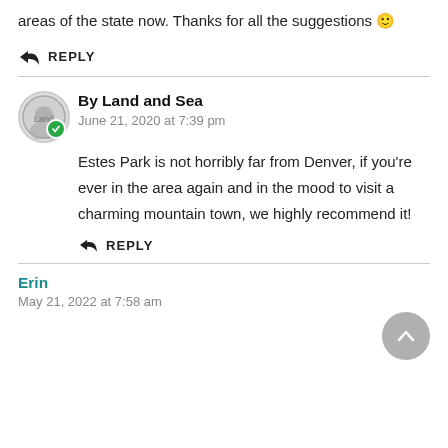areas of the state now. Thanks for all the suggestions 🙂
REPLY
By Land and Sea
June 21, 2020 at 7:39 pm
Estes Park is not horribly far from Denver, if you're ever in the area again and in the mood to visit a charming mountain town, we highly recommend it!
REPLY
Erin
May 21, 2022 at 7:58 am